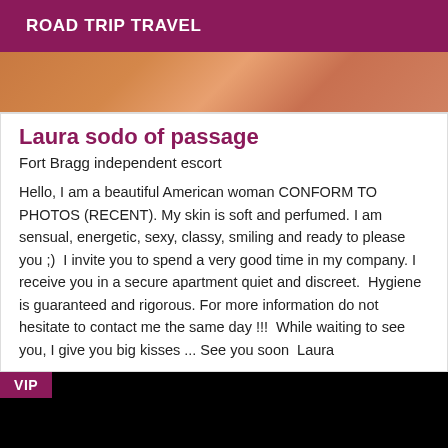ROAD TRIP TRAVEL
[Figure (photo): Partial photo showing warm skin tones, orange and peach colors, top portion of a person]
Laura sodo of passage
Fort Bragg independent escort
Hello, I am a beautiful American woman CONFORM TO PHOTOS (RECENT). My skin is soft and perfumed. I am sensual, energetic, sexy, classy, smiling and ready to please you ;)  I invite you to spend a very good time in my company. I receive you in a secure apartment quiet and discreet.  Hygiene is guaranteed and rigorous. For more information do not hesitate to contact me the same day !!!  While waiting to see you, I give you big kisses ... See you soon  Laura
[Figure (photo): Dark/black image with VIP badge in top-left corner]